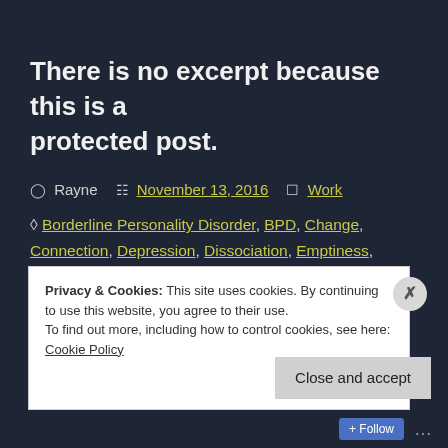There is no excerpt because this is a protected post.
Rayne   November 13, 2016   Work
Borderline Personality Disorder, BPD, Change, Connection, Depression, Dissociation, Emptiness, Feeling Lost, Fragile, Hurt, Life, Making Progress, Mental Health, Mental Illness, Missing Someone, Music, Numb, Relationships, Sadness, Soul,
Privacy & Cookies: This site uses cookies. By continuing to use this website, you agree to their use.
To find out more, including how to control cookies, see here: Cookie Policy
Follow ...